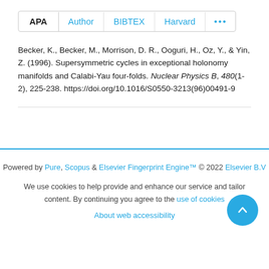APA   Author   BIBTEX   Harvard   ...
Becker, K., Becker, M., Morrison, D. R., Ooguri, H., Oz, Y., & Yin, Z. (1996). Supersymmetric cycles in exceptional holonomy manifolds and Calabi-Yau four-folds. Nuclear Physics B, 480(1-2), 225-238. https://doi.org/10.1016/S0550-3213(96)00491-9
Powered by Pure, Scopus & Elsevier Fingerprint Engine™ © 2022 Elsevier B.V
We use cookies to help provide and enhance our service and tailor content. By continuing you agree to the use of cookies
About web accessibility